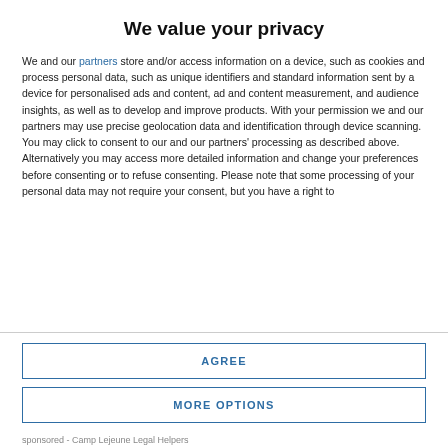We value your privacy
We and our partners store and/or access information on a device, such as cookies and process personal data, such as unique identifiers and standard information sent by a device for personalised ads and content, ad and content measurement, and audience insights, as well as to develop and improve products. With your permission we and our partners may use precise geolocation data and identification through device scanning. You may click to consent to our and our partners' processing as described above. Alternatively you may access more detailed information and change your preferences before consenting or to refuse consenting. Please note that some processing of your personal data may not require your consent, but you have a right to
AGREE
MORE OPTIONS
sponsored - Camp Lejeune Legal Helpers